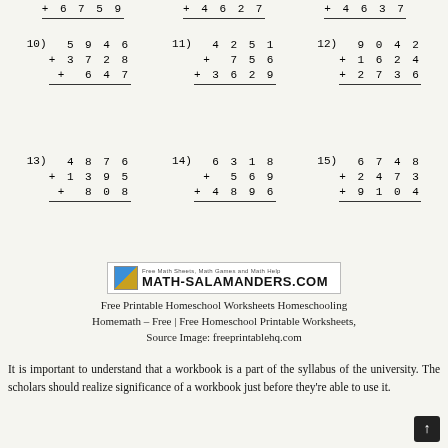[Figure (logo): Math-Salamanders.com logo with frog icon and tagline 'Free Math Sheets, Math Games and Math Help']
Free Printable Homeschool Worksheets Homeschooling Homemath – Free | Free Homeschool Printable Worksheets, Source Image: freeprintablehq.com
It is important to understand that a workbook is a part of the syllabus of the university. The scholars should realize significance of a workbook just before they're able to use it.